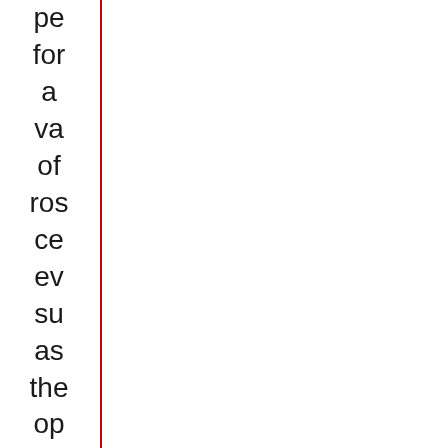pe for a va of ros ce ev su as the op nic win pa dir pre by Wi